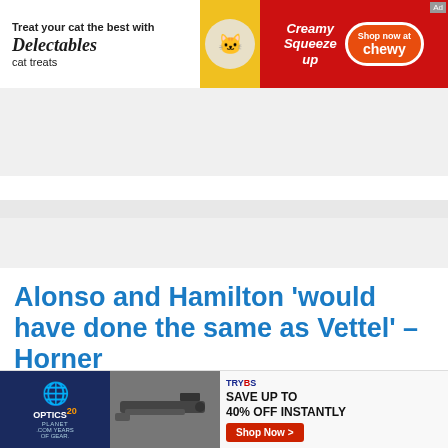[Figure (screenshot): Top advertisement banner: Delectables cat treats ad with red background, white left section showing 'Treat your cat the best with Delectables cat treats', and Chewy shop button on right]
[Figure (logo): RaceFans logo — RACEFANS in bold with blue stylized F, tagline: INDEPENDENT MOTORSPORT COVERAGE, with hamburger menu button on right]
Alonso and Hamilton ‘would have done the same as Vettel’ – Horner
[Figure (screenshot): Bottom advertisement: Optics Planet 20 years of gear ad on left with rifle image in middle, right side shows 'SAVE UP TO 40% OFF INSTANTLY' with red Shop Now button and Trybs logo]